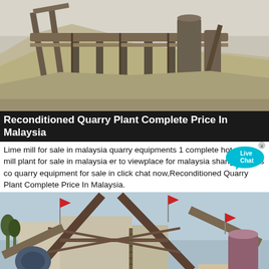[Figure (photo): Industrial quarry/sand plant with conveyor belts, machinery, and piles of gravel/sand material.]
Reconditioned Quarry Plant Complete Price In Malaysia
Lime mill for sale in malaysia quarry equipments 1 complete hot rolling mill plant for sale in malaysia er to viewplace for malaysia shanghai ciros co quarry equipment for sale in click chat now,Reconditioned Quarry Plant Complete Price In Malaysia.
[Figure (photo): Large industrial quarry crushing plant with conveyor belts, cranes, and machinery on a construction site with red flag markers.]